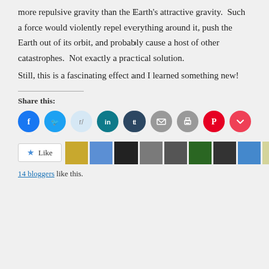more repulsive gravity than the Earth's attractive gravity.  Such a force would violently repel everything around it, push the Earth out of its orbit, and probably cause a host of other catastrophes.  Not exactly a practical solution.

Still, this is a fascinating effect and I learned something new!
Share this:
[Figure (infographic): Row of social share icon circles: Facebook (blue), Twitter (light blue), Reddit (light blue/grey), LinkedIn (dark teal), Tumblr (dark blue), Email (grey), Print (grey), Pinterest (red), Pocket (red/pink)]
[Figure (infographic): Like button with star icon and the word Like, followed by a row of 10 blogger avatar thumbnails]
14 bloggers like this.